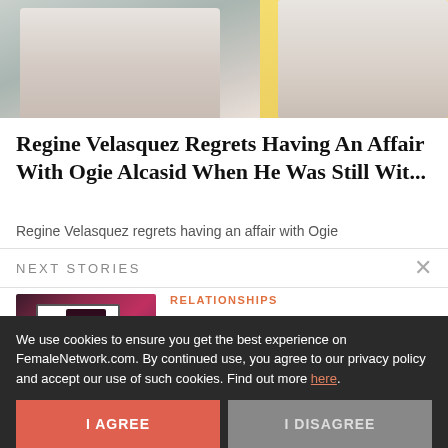[Figure (photo): Two photos side by side: left shows a person in white top with a bracelet visible, right shows a woman with red lips on a yellow background]
Regine Velasquez Regrets Having An Affair With Ogie Alcasid When He Was Still Wit...
Regine Velasquez regrets having an affair with Ogie
NEXT STORIES
[Figure (photo): A person standing in front of a screen in a dark room with pink/red lighting, videoke setting]
RELATIONSHIPS
Videoke Songs to Belt Out When You're Not 'The Only One'
We use cookies to ensure you get the best experience on FemaleNetwork.com. By continued use, you agree to our privacy policy and accept our use of such cookies. Find out more here.